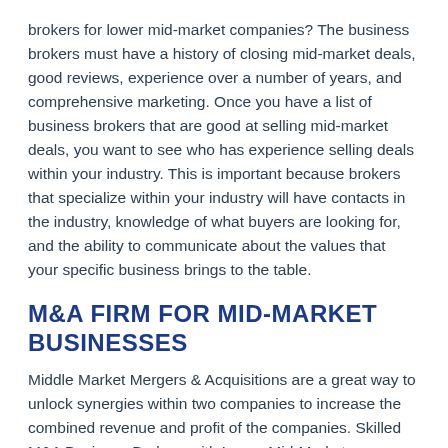brokers for lower mid-market companies? The business brokers must have a history of closing mid-market deals, good reviews, experience over a number of years, and comprehensive marketing. Once you have a list of business brokers that are good at selling mid-market deals, you want to see who has experience selling deals within your industry. This is important because brokers that specialize within your industry will have contacts in the industry, knowledge of what buyers are looking for, and the ability to communicate about the values that your specific business brings to the table.
M&A FIRM FOR MID-MARKET BUSINESSES
Middle Market Mergers & Acquisitions are a great way to unlock synergies within two companies to increase the combined revenue and profit of the companies. Skilled M&A Business Brokers with Lower Mid-Market experience can help you target the right companies to bring you to the